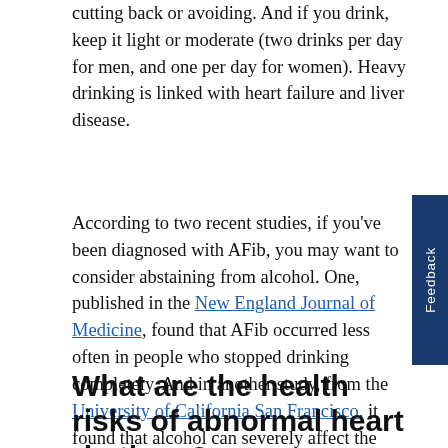cutting back or avoiding. And if you drink, keep it light or moderate (two drinks per day for men, and one per day for women). Heavy drinking is linked with heart failure and liver disease.
According to two recent studies, if you've been diagnosed with AFib, you may want to consider abstaining from alcohol. One, published in the New England Journal of Medicine, found that AFib occurred less often in people who stopped drinking completely. And in another study, from the University of California San Francisco, it found that alcohol can severely affect the electrical system within the heart that controls your heartbeat, making a person susceptible to AFib.
What are the health risks of abnormal heart rhythms?